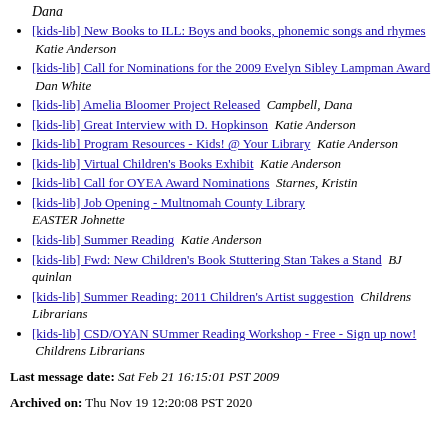[kids-lib] New Books to ILL: Boys and books, phonemic songs and rhymes  Katie Anderson
[kids-lib] Call for Nominations for the 2009 Evelyn Sibley Lampman Award  Dan White
[kids-lib] Amelia Bloomer Project Released  Campbell, Dana
[kids-lib] Great Interview with D. Hopkinson  Katie Anderson
[kids-lib] Program Resources - Kids! @ Your Library  Katie Anderson
[kids-lib] Virtual Children's Books Exhibit  Katie Anderson
[kids-lib] Call for OYEA Award Nominations  Starnes, Kristin
[kids-lib] Job Opening - Multnomah County Library  EASTER Johnette
[kids-lib] Summer Reading  Katie Anderson
[kids-lib] Fwd: New Children's Book Stuttering Stan Takes a Stand  BJ quinlan
[kids-lib] Summer Reading: 2011 Children's Artist suggestion  Childrens Librarians
[kids-lib] CSD/OYAN SUmmer Reading Workshop - Free - Sign up now!  Childrens Librarians
Last message date: Sat Feb 21 16:15:01 PST 2009
Archived on: Thu Nov 19 12:20:08 PST 2020